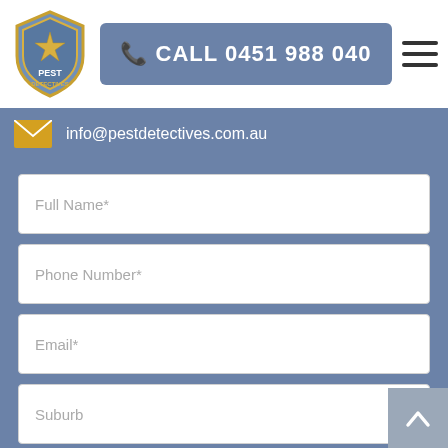[Figure (logo): Pest Detectives shield/badge logo with star in center]
CALL 0451 988 040
info@pestdetectives.com.au
Full Name*
Phone Number*
Email*
Suburb
Message / Description